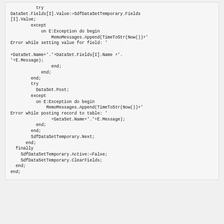try
DataSet.Fields[I].Value:=SdfDataSetTemporary.Fields
[I].Value;
        except
            on E:Exception do begin
                MemoMessages.Append(TimeToStr(Now())+'
Error while setting value for field: '

+DataSet.Name+'.'+DataSet.Fields[I].Name +'.
'+E.Message);
                end;
            end;
        end;
        try
          DataSet.Post;
        except
          on E:Exception do begin
              MemoMessages.Append(TimeToStr(Now())+'
Error while posting record to table: '
                +DataSet.Name+'.'+E.Message);
          end;
        end;
        SdfDataSetTemporary.Next;
      end;
  finally
    SdfDataSetTemporary.Active:=False;
    SdfDataSetTemporary.ClearFields;
  end;
end;